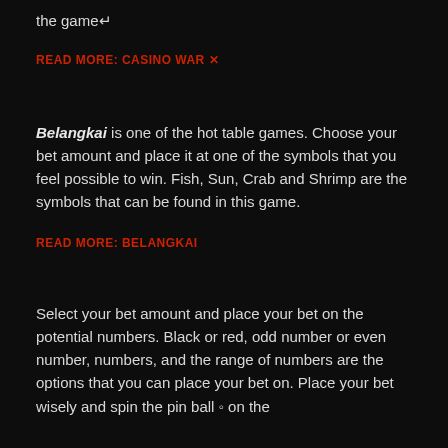the game↵
READ MORE: CASINO WAR ✕
Belangkai is one of the hot table games. Choose your bet amount and place it at one of the symbols that you feel possible to win. Fish, Sun, Crab and Shrimp are the symbols that can be found in this game.
READ MORE: BELANGKAI
Select your bet amount and place your bet on the potential numbers. Black or red, odd number or even number, numbers, and the range of numbers are the options that you can place your bet on. Place your bet wisely and spin the pin ball ◦ on the